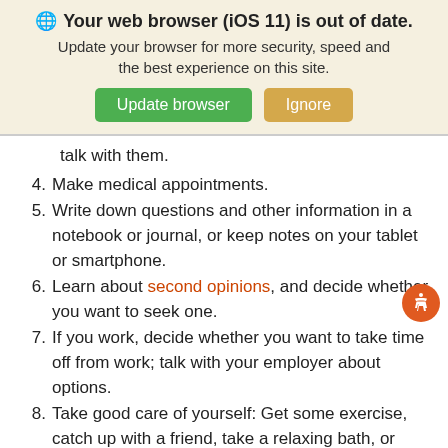[Figure (screenshot): Browser update banner: globe icon, bold title 'Your web browser (iOS 11) is out of date.', subtitle text, green 'Update browser' button, tan 'Ignore' button]
talk with them.
4. Make medical appointments.
5. Write down questions and other information in a notebook or journal, or keep notes on your tablet or smartphone.
6. Learn about second opinions, and decide whether you want to seek one.
7. If you work, decide whether you want to take time off from work; talk with your employer about options.
8. Take good care of yourself: Get some exercise, catch up with a friend, take a relaxing bath, or seek a support group online